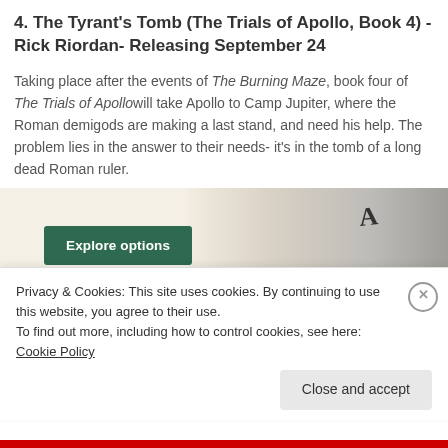4. The Tyrant's Tomb (The Trials of Apollo, Book 4) - Rick Riordan- Releasing September 24
Taking place after the events of The Burning Maze, book four of The Trials of Apollo will take Apollo to Camp Jupiter, where the Roman demigods are making a last stand, and need his help. The problem lies in the answer to their needs- it's in the tomb of a long dead Roman ruler.
[Figure (screenshot): Advertisement banner with a green 'Explore options' button on a beige background, with food/lifestyle website screenshots on the right side and a stylized 'A' logo.]
Privacy & Cookies: This site uses cookies. By continuing to use this website, you agree to their use.
To find out more, including how to control cookies, see here: Cookie Policy
Close and accept